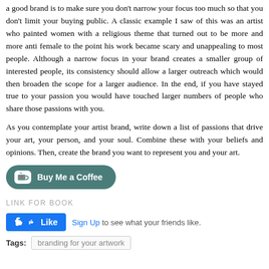a good brand is to make sure you don't narrow your focus too much so that you don't limit your buying public. A classic example I saw of this was an artist who painted women with a religious theme that turned out to be more and more anti female to the point his work became scary and unappealing to most people. Although a narrow focus in your brand creates a smaller group of interested people, its consistency should allow a larger outreach which would then broaden the scope for a larger audience. In the end, if you have stayed true to your passion you would have touched larger numbers of people who share those passions with you.
As you contemplate your artist brand, write down a list of passions that drive your art, your person, and your soul. Combine these with your beliefs and opinions. Then, create the brand you want to represent you and your art.
[Figure (other): Buy Me a Coffee button — a dark teal rounded pill button with a coffee cup icon and bold white text reading 'Buy Me a Coffee']
LINK FOR BOOK
[Figure (other): Facebook Like button — blue rounded rectangle with thumbs up icon and 'Like' text, followed by 'Sign Up to see what your friends like.']
Tags: branding for your artwork